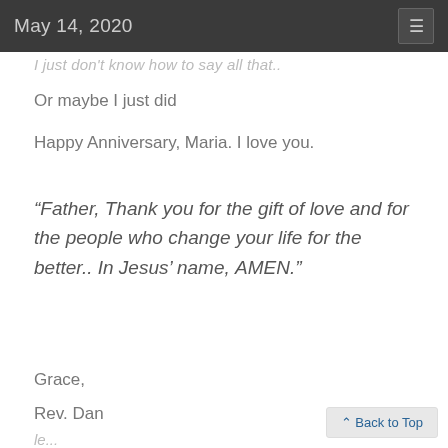May 14, 2020
I just don't know how to say all that..
Or maybe I just did
Happy Anniversary, Maria. I love you.
“Father, Thank you for the gift of love and for the people who change your life for the better.. In Jesus’ name, AMEN.”
Grace,
Rev. Dan
Back to Top